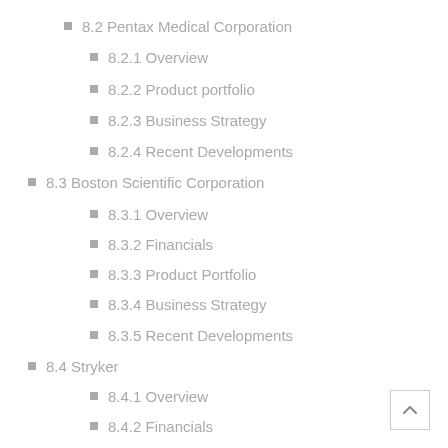8.2 Pentax Medical Corporation
8.2.1 Overview
8.2.2 Product portfolio
8.2.3 Business Strategy
8.2.4 Recent Developments
8.3 Boston Scientific Corporation
8.3.1 Overview
8.3.2 Financials
8.3.3 Product Portfolio
8.3.4 Business Strategy
8.3.5 Recent Developments
8.4 Stryker
8.4.1 Overview
8.4.2 Financials